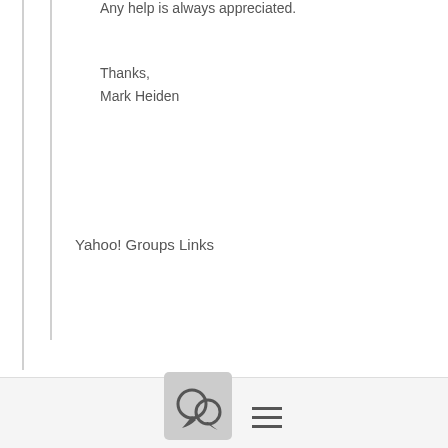Any help is always appreciated.
Thanks,
Mark Heiden
Yahoo! Groups Links
[Figure (other): Footer bar with a chat bubble icon button (square with rounded corners, gray background) and a hamburger menu icon (three horizontal lines)]